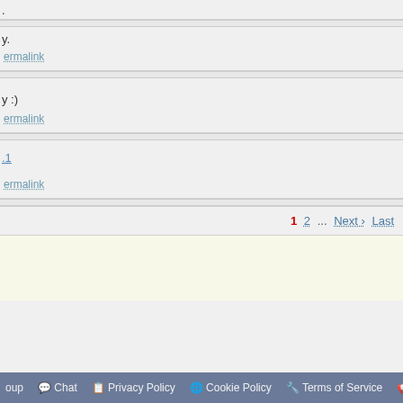.
y.
ermalink
y :)
ermalink
.1
ermalink
1  2  ...  Next >  Last
oup  Chat  Privacy Policy  Cookie Policy  Terms of Service  Adver...